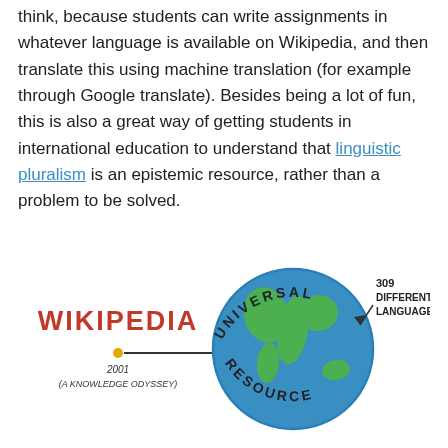think, because students can write assignments in whatever language is available on Wikipedia, and then translate this using machine translation (for example through Google translate). Besides being a lot of fun, this is also a great way of getting students in international education to understand that linguistic pluralism is an epistemic resource, rather than a problem to be solved.
[Figure (illustration): Hand-drawn illustration showing 'WIKIPEDIA' text in red on the left with a small dot and arrow pointing right to a globe (Earth). Above the globe: 'UNIVERSAL' in arc text. To the right of the globe: '309 DIFFERENT LANGUAGES!' with an arrow pointing at the globe. Below the globe: 'RESOURCE' in arc text. Below the arrow from Wikipedia: '2001 (A KNOWLEDGE ODYSSEY)'. Bottom left: Global Thinkers logo. Bottom right: #WIKIEDU20]
I also want to think about group projects to generate featured articles for Wikipedia – these are articles that are considered to be of an excellent standard by the community and have undergone extensive peer review and editing within the...